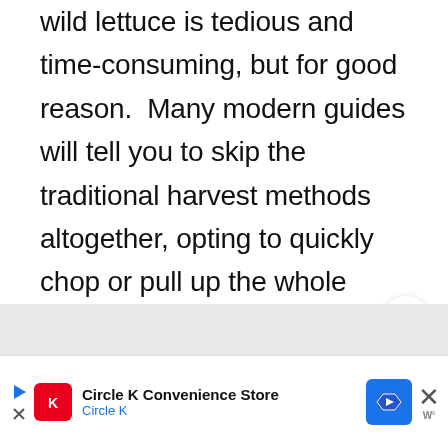wild lettuce is tedious and time-consuming, but for good reason.  Many modern guides will tell you to skip the traditional harvest methods altogether, opting to quickly chop or pull up the whole plant and stuff it into a blender. If you do that, you're likely just wasting your time.
[Figure (infographic): Share button (circular white button with share icon)]
[Figure (infographic): What's Next widget showing Classic Peach Jam with a thumbnail of peaches/jam jars]
[Figure (infographic): Advertisement bar for Circle K Convenience Store with Circle K logo, navigation arrow icon, close button and weather widget]